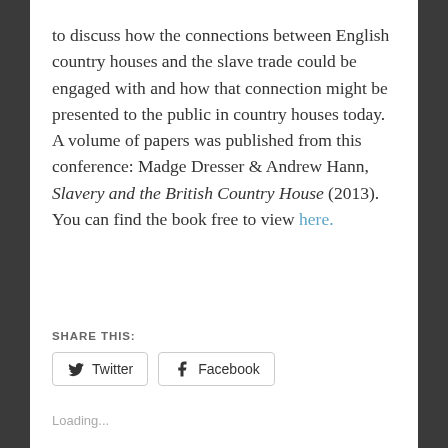to discuss how the connections between English country houses and the slave trade could be engaged with and how that connection might be presented to the public in country houses today. A volume of papers was published from this conference: Madge Dresser & Andrew Hann, Slavery and the British Country House (2013). You can find the book free to view here.
SHARE THIS:
Twitter  Facebook
Loading...